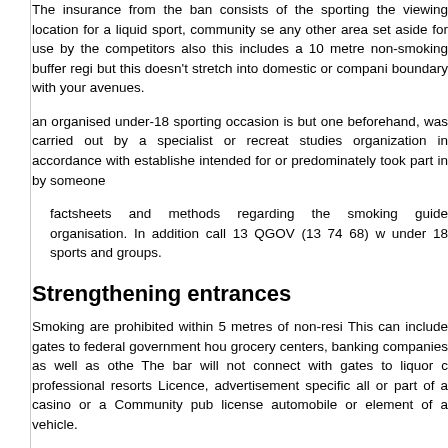The insurance from the ban consists of the sporting the viewing location for a liquid sport, community se any other area set aside for use by the competitors also this includes a 10 metre non-smoking buffer regi but this doesn't stretch into domestic or compani boundary with your avenues.
an organised under-18 sporting occasion is but one beforehand, was carried out by a specialist or recreat studies organization in accordance with establish intended for or predominately took part in by someone
factsheets and methods regarding the smoking guide organisation. In addition call 13 QGOV (13 74 68) w under 18 sports and groups.
Strengthening entrances
Smoking are prohibited within 5 metres of non-resi This can include gates to federal government hou grocery centers, banking companies as well as othe The bar will not connect with gates to liquor c professional resorts Licence, advertisement specific all or part of a casino or a Community pub license automobile or element of a vehicle.